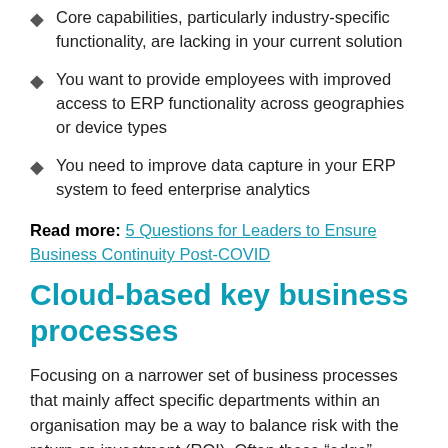Core capabilities, particularly industry-specific functionality, are lacking in your current solution
You want to provide employees with improved access to ERP functionality across geographies or device types
You need to improve data capture in your ERP system to feed enterprise analytics
Read more: 5 Questions for Leaders to Ensure Business Continuity Post-COVID
Cloud-based key business processes
Focusing on a narrower set of business processes that mainly affect specific departments within an organisation may be a way to balance risk with the return on investment (ROI). Often these “edge”